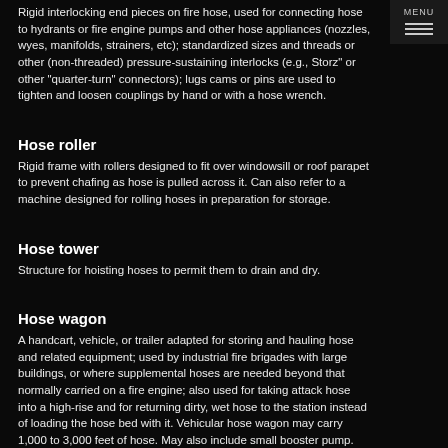Rigid interlocking end pieces on fire hose, used for connecting hose to hydrants or fire engine pumps and other hose appliances (nozzles, wyes, manifolds, strainers, etc); standardized sizes and threads or other (non-threaded) pressure-sustaining interlocks (e.g., Storz" or other "quarter-turn" connectors); lugs cams or pins are used to tighten and loosen couplings by hand or with a hose wrench.
Hose roller
Rigid frame with rollers designed to fit over windowsill or roof parapet to prevent chafing as hose is pulled across it. Can also refer to a machine designed for rolling hoses in preparation for storage.
Hose tower
Structure for hoisting hoses to permit them to drain and dry.
Hose wagon
A handcart, vehicle, or trailer adapted for storing and hauling hose and related equipment; used by industrial fire brigades with large buildings, or where supplemental hoses are needed beyond that normally carried on a fire engine; also used for taking attack hose into a high-rise and for returning dirty, wet hose to the station instead of loading the hose bed with it. Vehicular hose wagon may carry 1,000 to 3,000 feet of hose. May also include small booster pump.